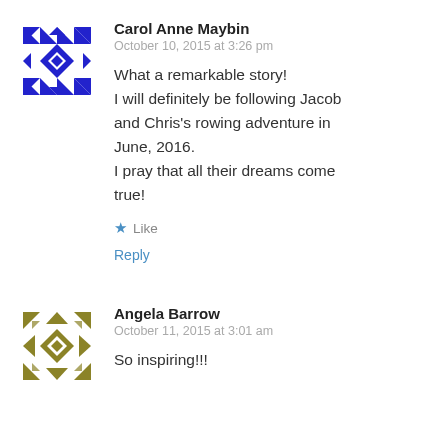[Figure (illustration): Blue geometric quilt-pattern avatar icon for Carol Anne Maybin]
Carol Anne Maybin
October 10, 2015 at 3:26 pm
What a remarkable story!
I will definitely be following Jacob and Chris's rowing adventure in June, 2016.
I pray that all their dreams come true!
★ Like
Reply
[Figure (illustration): Olive/gold geometric quilt-pattern avatar icon for Angela Barrow]
Angela Barrow
October 11, 2015 at 3:01 am
So inspiring!!!